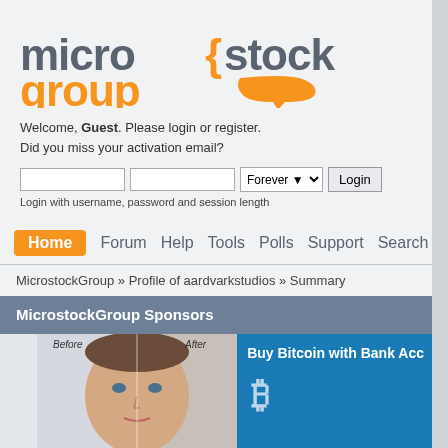[Figure (logo): Microstock Group logo with orange bracket and speech bubble]
Welcome, Guest. Please login or register.
Did you miss your activation email?
Login with username, password and session length
Home  Forum  Help  Tools  Polls  Support  Search  Login  Re...
MicrostockGroup » Profile of aardvarkstudios » Summary
MicrostockGroup Sponsors
[Figure (photo): Before/After face retouching photo of a woman]
[Figure (screenshot): Buy Bitcoin with Bank Account advertisement banner]